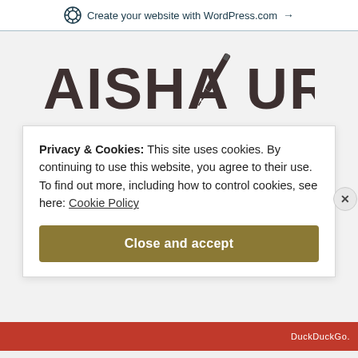Create your website with WordPress.com →
[Figure (logo): AISHA UROOJ blog logo with a fountain pen replacing the letter between AISHA and UROOJ, in dark brown/charcoal color]
Privacy & Cookies: This site uses cookies. By continuing to use this website, you agree to their use.
To find out more, including how to control cookies, see here: Cookie Policy
Close and accept